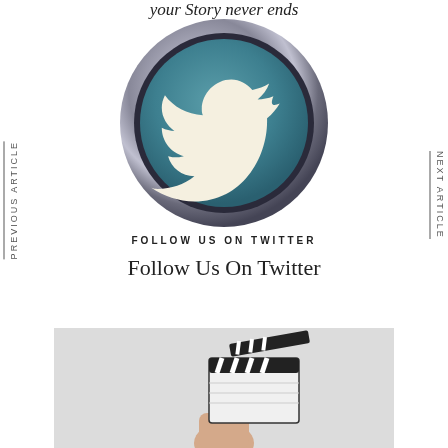your Story never ends
[Figure (logo): Twitter logo button: a metallic chrome circle border with a teal/steel blue interior circle containing a white Twitter bird icon]
FOLLOW US ON TWITTER
Follow Us On Twitter
PREVIOUS ARTICLE
NEXT ARTICLE
[Figure (photo): A hand holding a movie clapperboard against a light grey background]